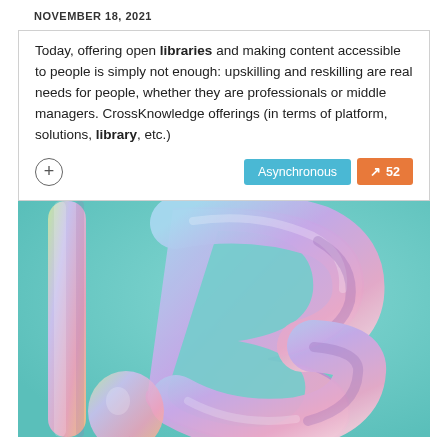NOVEMBER 18, 2021
Today, offering open libraries and making content accessible to people is simply not enough: upskilling and reskilling are real needs for people, whether they are professionals or middle managers. CrossKnowledge offerings (in terms of platform, solutions, library, etc.)
[Figure (photo): Metallic balloon number 13 on a teal/turquoise background. The balloons are shiny and reflective with pink and blue gradient colors.]